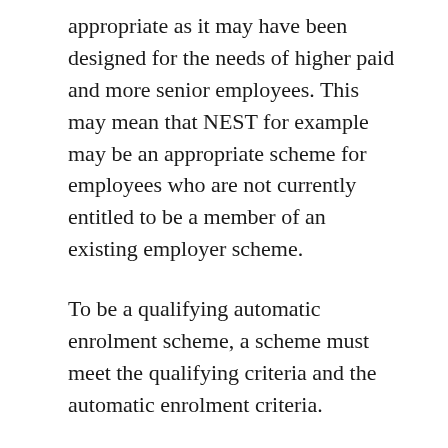appropriate as it may have been designed for the needs of higher paid and more senior employees. This may mean that NEST for example may be an appropriate scheme for employees who are not currently entitled to be a member of an existing employer scheme.
To be a qualifying automatic enrolment scheme, a scheme must meet the qualifying criteria and the automatic enrolment criteria.
The main part of the qualifying criteria requires the pension scheme to meet certain minimum standards, which differ according to the type of pension scheme. Most employers will want to offer a defined contribution pension scheme. The minimum requirements for such schemes are a minimum total contribution based on qualifying earnings, of which a specified amount must come from the employer